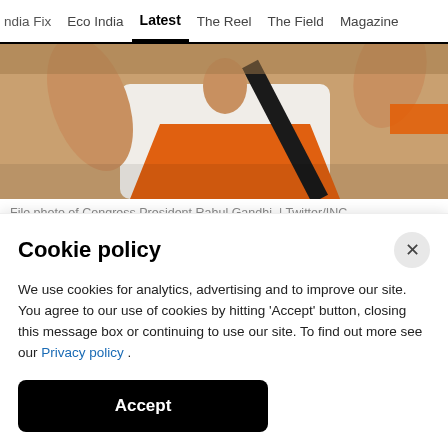ndia Fix   Eco India   Latest   The Reel   The Field   Magazine
[Figure (photo): Cropped photo of a person in white shirt and orange sash, raising hand, with dark strap across torso]
File photo of Congress President Rahul Gandhi. | Twitter/INC
Congress President Rahul Gandhi is contesting from two seats – Amethi in Uttar Pradesh and Wayanad in Kerala. In next election, Amethi first contested
Cookie policy
We use cookies for analytics, advertising and to improve our site. You agree to our use of cookies by hitting 'Accept' button, closing this message box or continuing to use our site. To find out more see our Privacy policy .